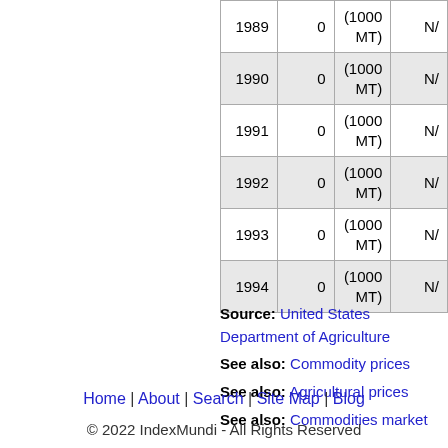| Year | Value | Unit |  |
| --- | --- | --- | --- |
| 1989 | 0 | (1000 MT) | N/ |
| 1990 | 0 | (1000 MT) | N/ |
| 1991 | 0 | (1000 MT) | N/ |
| 1992 | 0 | (1000 MT) | N/ |
| 1993 | 0 | (1000 MT) | N/ |
| 1994 | 0 | (1000 MT) | N/ |
Source: United States Department of Agriculture
See also: Commodity prices
See also: Agricultural prices
See also: Commodities market
Home | About | Search | Site Map | Blog
© 2022 IndexMundi - All Rights Reserved